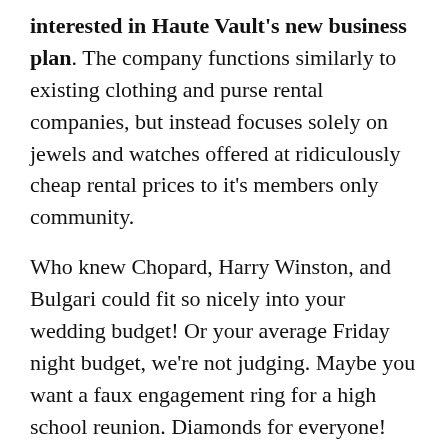interested in Haute Vault's new business plan. The company functions similarly to existing clothing and purse rental companies, but instead focuses solely on jewels and watches offered at ridiculously cheap rental prices to it's members only community.
Who knew Chopard, Harry Winston, and Bulgari could fit so nicely into your wedding budget! Or your average Friday night budget, we're not judging. Maybe you want a faux engagement ring for a high school reunion. Diamonds for everyone! Your man isn't left out of the fun either; he can don a swanky Swiss timepiece and really get a taste for the good life.
The concept is great if you're a bit noncommittal or gun shy on major purchases. If you need to change out your necklaces as fast as your panties renting could certainly provide you with rotating options.